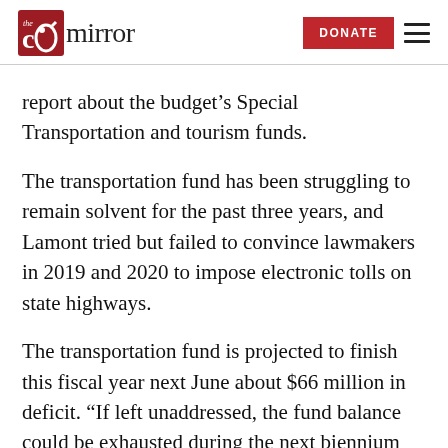the ct mirror | DONATE
report about the budget’s Special Transportation and tourism funds.
The transportation fund has been struggling to remain solvent for the past three years, and Lamont tried but failed to convince lawmakers in 2019 and 2020 to impose electronic tolls on state highways.
The transportation fund is projected to finish this fiscal year next June about $66 million in deficit. “If left unaddressed, the fund balance could be exhausted during the next biennium